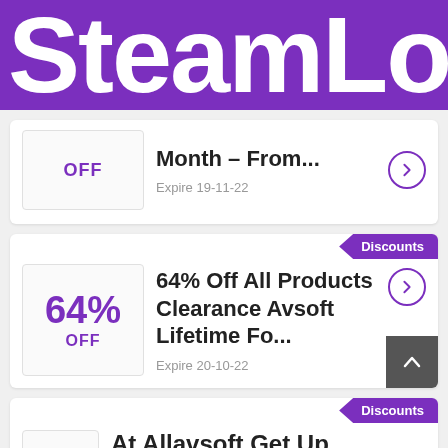SteamLo
OFF | Month – From... | Expire 19-11-22
Discounts | 64% OFF | 64% Off All Products Clearance Avsoft Lifetime Fo... | Expire 20-10-22
Discounts | At Allavsoft Get Up